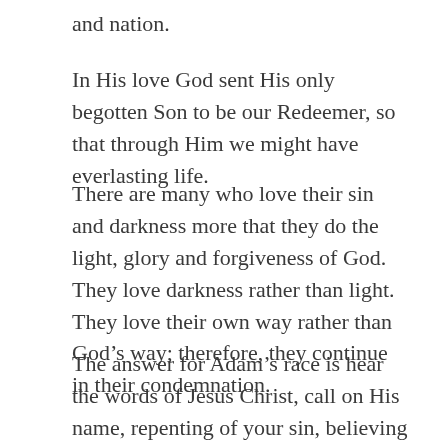and nation.
In His love God sent His only begotten Son to be our Redeemer, so that through Him we might have everlasting life.
There are many who love their sin and darkness more that they do the light, glory and forgiveness of God. They love darkness rather than light. They love their own way rather than God’s way; therefore, they continue in their condemnation.
The answer for Adam’s race is hear the words of Jesus Christ, call on His name, repenting of your sin, believing Him and He will hear you and give you life eternal.